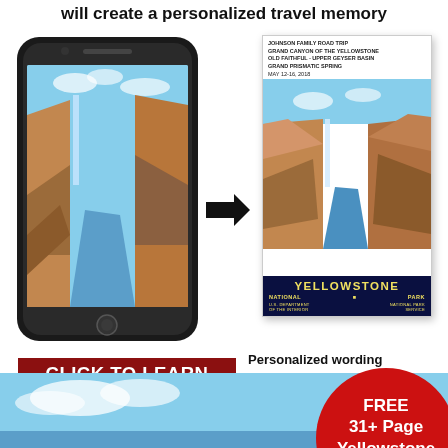will create a personalized travel memory
[Figure (infographic): Smartphone displaying a photo of Grand Canyon of the Yellowstone with a waterfall, next to a arrow pointing right to a Yellowstone National Park WPA-style poster personalized with 'Johnson Family Road Trip' text]
Personalized wording
6 formats to choose
Free shipping
CLICK TO LEARN MORE
FREE 31+ Page Yellowstone Itinerary!
[Figure (photo): Blue sky photo at the bottom of the page]